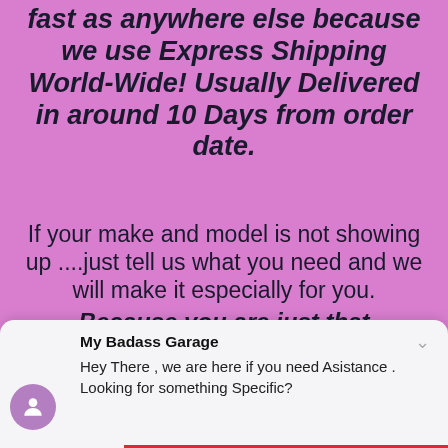fast as anywhere else because we use Express Shipping World-Wide! Usually Delivered in around 10 Days from order date.
If your make and model is not showing up ....just tell us what you need and we will make it especially for you. Because you are just that important! The Leader in Custom Garage Signs and Badass Garage Signs
EMAIL ME 24/7 AT
[Figure (screenshot): Chat widget popup: 'My Badass Garage' with message 'Hey There , we are here if you need Asistance . Looking for something Specific?']